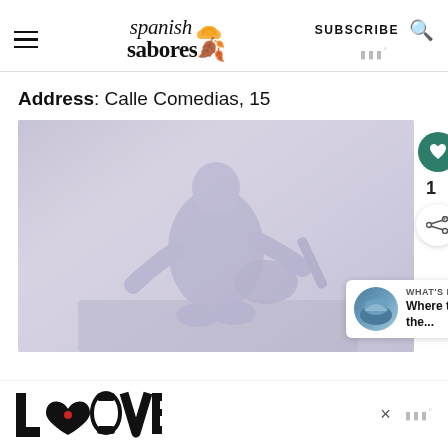spanish sabores | SUBSCRIBE
Address: Calle Comedias, 15
[Figure (photo): A guitarist performing on stage, shown in a washed-out/faded photograph. The performer is seated and playing an acoustic guitar. There is a heart/save button overlay, a share button overlay, a count badge showing '1', and a 'What's Next' card showing 'Where to Eat Near the...']
[Figure (logo): LOVE word art logo with decorative black and white pattern letters, with a small red dot accent. Part of an advertisement bar at the bottom of the page.]